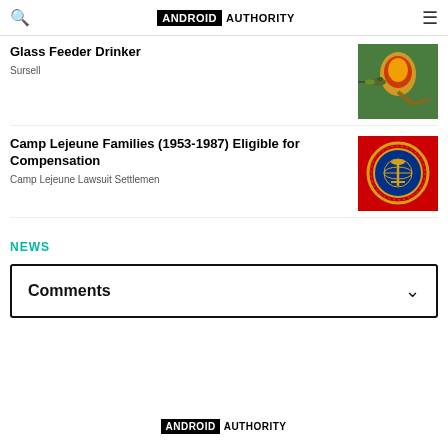ANDROID AUTHORITY
Glass Feeder Drinker
Sursell
Camp Lejeune Families (1953-1987) Eligible for Compensation
Camp Lejeune Lawsuit Settlemen
NEWS
Comments
ANDROID AUTHORITY